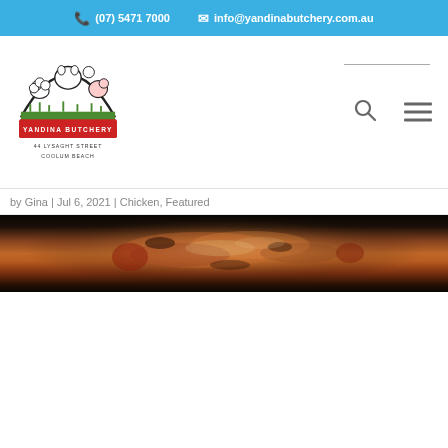(07) 5471 7000 | info@yandinabutchery.com.au
[Figure (logo): Yandina Butchery logo with farm animals illustration, 44 Lysaght Street, Coolum Beach]
by Gina | Jul 6, 2021 | Chicken, Featured
[Figure (photo): Close-up photo of cooked chicken dish on dark background]